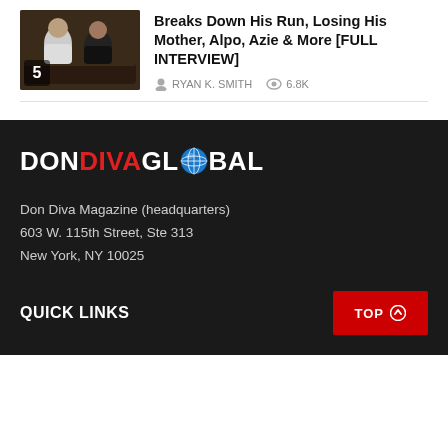[Figure (photo): Two men sitting on a dark leather couch, thumbnail image with number 5 badge at bottom left]
Breaks Down His Run, Losing His Mother, Alpo, Azie & More [FULL INTERVIEW]
RYAN K. SMITH   6.8K
[Figure (logo): Don Diva Global logo with globe icon replacing the letter O in GLOBAL, white and red lettering on dark background]
Don Diva Magazine (headquarters)
603 W. 115th Street, Ste 313
New York, NY 10025
QUICK LINKS